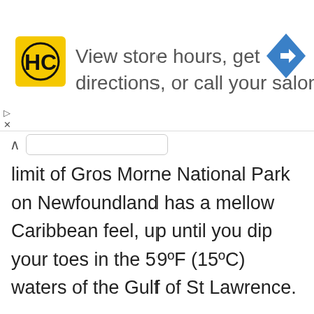[Figure (logo): Advertisement banner with HC (Haircuttery) yellow square logo on left, blue navigation arrow icon on right, text: View store hours, get directions, or call your salon!]
limit of Gros Morne National Park on Newfoundland has a mellow Caribbean feel, up until you dip your toes in the 59ºF (15ºC) waters of the Gulf of St Lawrence.

Kayaking is a prominent task right here. You can abandon from the beach and also navigate the protected waters of Belldowns Island where arctic terns nest